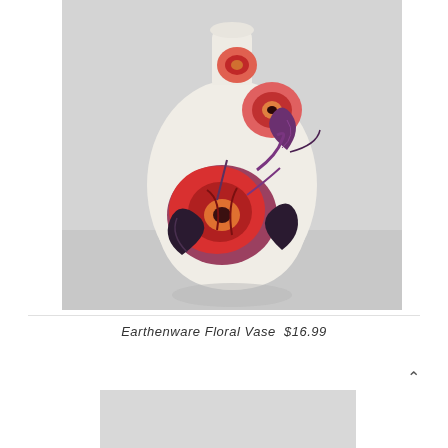[Figure (photo): A ceramic earthenware vase with a floral rose pattern in red, purple, and peach on a cream/off-white background. The vase is teardrop-shaped with a narrow neck. It sits on a gray surface against a light gray background.]
Earthenware Floral Vase  $16.99
[Figure (photo): Partial view of a second product image, cropped at the bottom of the page, showing a gray background.]